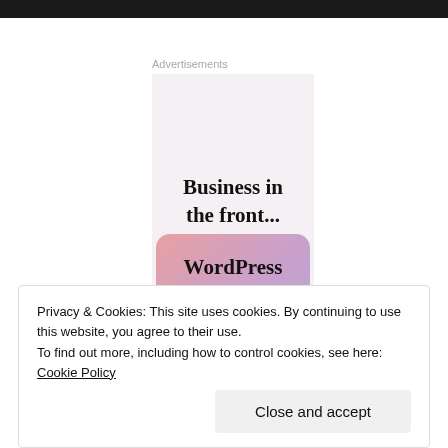[Figure (illustration): Advertisement banner for WordPress. Top section on light pink background reads 'Business in the front...' in bold serif font. Bottom rounded rectangle with pink-purple gradient shows 'WordPress in the back.' in bold serif font. Two peach/gold half-circles at the bottom.]
Privacy & Cookies: This site uses cookies. By continuing to use this website, you agree to their use.
To find out more, including how to control cookies, see here: Cookie Policy
Close and accept